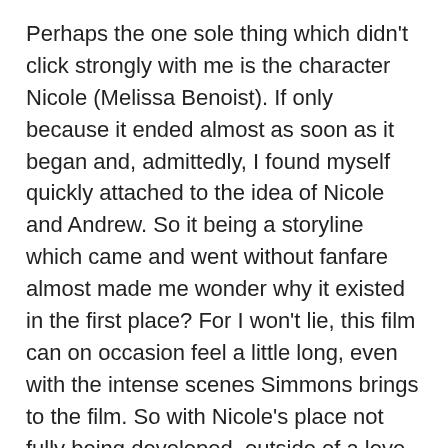Perhaps the one sole thing which didn't click strongly with me is the character Nicole (Melissa Benoist). If only because it ended almost as soon as it began and, admittedly, I found myself quickly attached to the idea of Nicole and Andrew. So it being a storyline which came and went without fanfare almost made me wonder why it existed in the first place? For I won't lie, this film can on occasion feel a little long, even with the intense scenes Simmons brings to the film. So with Nicole's place not fully being developed, outside of a love interest Andrew wouldn't have time for, I do sort of feel she could have been cut without issue. Saving the film 5-10 minutes, if that.
Overall: Worth Seeing
Honestly, between Teller and Simmons, I don't know how